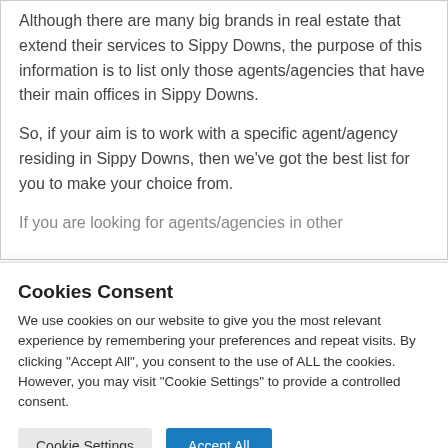Although there are many big brands in real estate that extend their services to Sippy Downs, the purpose of this information is to list only those agents/agencies that have their main offices in Sippy Downs.
So, if your aim is to work with a specific agent/agency residing in Sippy Downs, then we've got the best list for you to make your choice from.
If you are looking for agents/agencies in other
Cookies Consent
We use cookies on our website to give you the most relevant experience by remembering your preferences and repeat visits. By clicking "Accept All", you consent to the use of ALL the cookies. However, you may visit "Cookie Settings" to provide a controlled consent.
Cookie Settings | Accept All